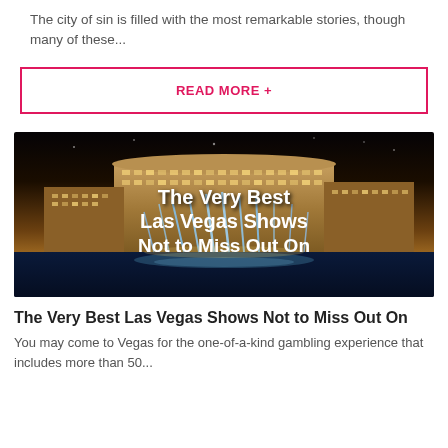The city of sin is filled with the most remarkable stories, though many of these...
READ MORE +
[Figure (photo): Night photo of the Bellagio hotel and casino in Las Vegas with fountains lit up, overlaid with bold white text reading 'The Very Best Las Vegas Shows Not to Miss Out On']
The Very Best Las Vegas Shows Not to Miss Out On
You may come to Vegas for the one-of-a-kind gambling experience that includes more than 50...